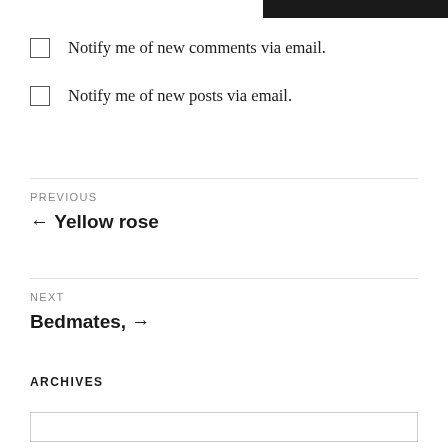[Figure (other): Black top bar element at upper right]
Notify me of new comments via email.
Notify me of new posts via email.
PREVIOUS
← Yellow rose
NEXT
Bedmates, →
ARCHIVES